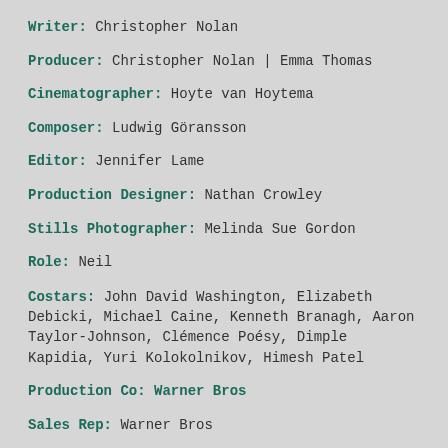Writer: Christopher Nolan
Producer: Christopher Nolan | Emma Thomas
Cinematographer: Hoyte van Hoytema
Composer: Ludwig Göransson
Editor: Jennifer Lame
Production Designer: Nathan Crowley
Stills Photographer: Melinda Sue Gordon
Role: Neil
Costars: John David Washington, Elizabeth Debicki, Michael Caine, Kenneth Branagh, Aaron Taylor-Johnson, Clémence Poésy, Dimple Kapidia, Yuri Kolokolnikov, Himesh Patel
Production Co: Warner Bros
Sales Rep: Warner Bros
World Premiere: 17 July 2020 | 21 July 2020 | 12...